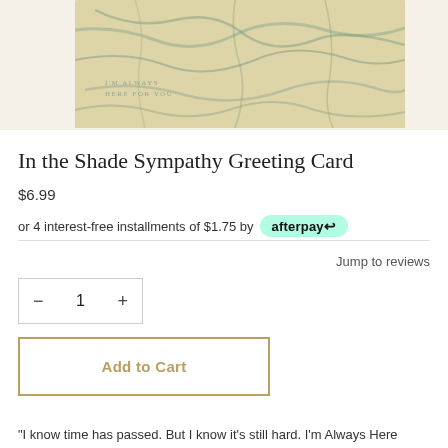[Figure (photo): Greeting card product image showing a stone/marble texture with teal veining and text reading 'I'M ALWAYS HERE FOR YOU']
In the Shade Sympathy Greeting Card
$6.99
or 4 interest-free installments of $1.75 by afterpay
Jump to reviews
1
Add to Cart
"I know time has passed. But I know it's still hard. I'm Always Here